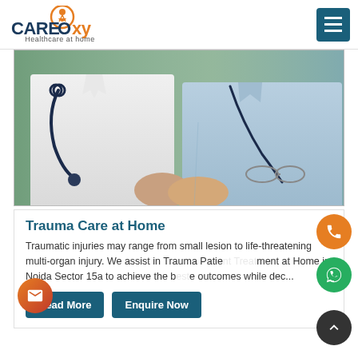CARE Oxy — Healthcare at home
[Figure (photo): Two medical professionals (doctor and patient/caregiver) holding hands with stethoscopes visible, outdoor green background]
Trauma Care at Home
Traumatic injuries may range from small lesion to life-threatening multi-organ injury. We assist in Trauma Patient Treatment at Home in Noida Sector 15a to achieve the best outcomes while dec...